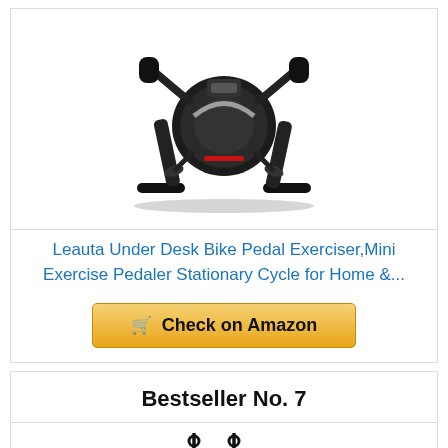[Figure (photo): Photo of a black Leauta under desk mini bike pedal exerciser with handles and digital display]
Leauta Under Desk Bike Pedal Exerciser,Mini Exercise Pedaler Stationary Cycle for Home &...
[Figure (other): Check on Amazon button with shopping cart icon]
Bestseller No. 7
[Figure (photo): Partial view of black hook accessories at the bottom of the page]